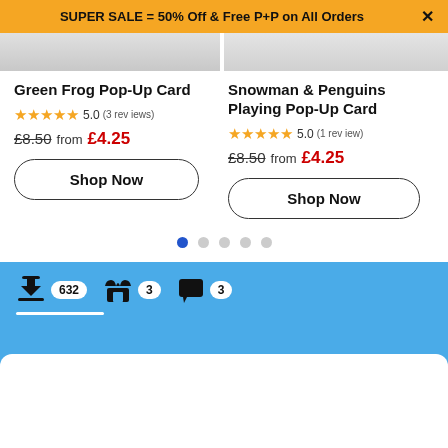SUPER SALE = 50% Off & Free P+P on All Orders  ×
Green Frog Pop-Up Card
★★★★★ 5.0 (3 reviews)
£8.50  from £4.25
Shop Now
Snowman & Penguins Playing Pop-Up Card
★★★★★ 5.0 (1 review)
£8.50  from £4.25
Shop Now
[Figure (screenshot): Carousel pagination dots — 1 blue (active), 4 grey]
[Figure (screenshot): Bottom navigation bar with icons: downloads badge 632, store badge 3, chat badge 3; white underline tab indicator; white rounded bar below]